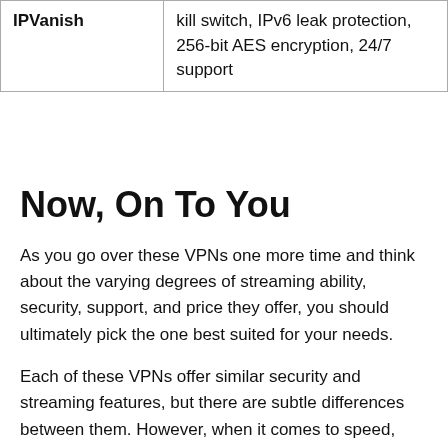| VPN | Features |
| --- | --- |
| IPVanish | kill switch, IPv6 leak protection, 256-bit AES encryption, 24/7 support |
Now, On To You
As you go over these VPNs one more time and think about the varying degrees of streaming ability, security, support, and price they offer, you should ultimately pick the one best suited for your needs.
Each of these VPNs offer similar security and streaming features, but there are subtle differences between them. However, when it comes to speed, consistent site unblocking, and reliable customer support, the differences